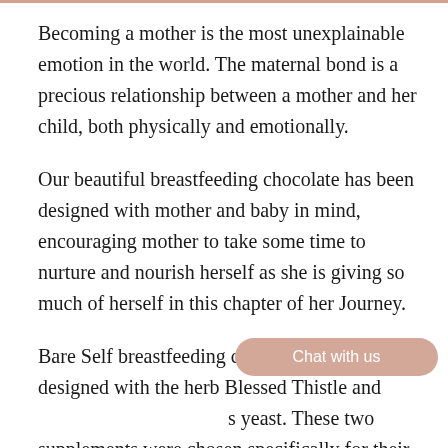Becoming a mother is the most unexplainable emotion in the world. The maternal bond is a precious relationship between a mother and her child, both physically and emotionally.
Our beautiful breastfeeding chocolate has been designed with mother and baby in mind, encouraging mother to take some time to nurture and nourish herself as she is giving so much of herself in this chapter of her Journey.
Bare Self breastfeeding chocolate has been designed with the herb Blessed Thistle and [Chat with us] brewer's yeast. These two supplements were chosen specifically for their benefits in stimulating and